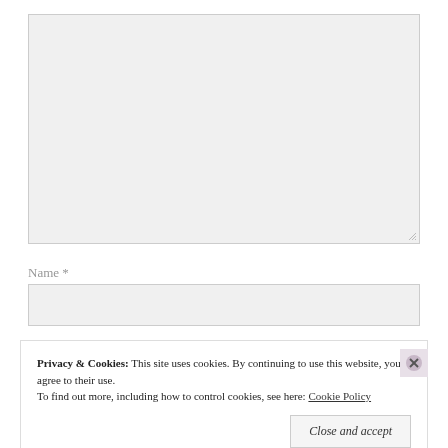[Figure (screenshot): Empty textarea input field with light gray background and resize handle at bottom-right]
Name *
[Figure (screenshot): Empty single-line text input field for Name with light gray background]
Privacy & Cookies: This site uses cookies. By continuing to use this website, you agree to their use.
To find out more, including how to control cookies, see here: Cookie Policy
Close and accept